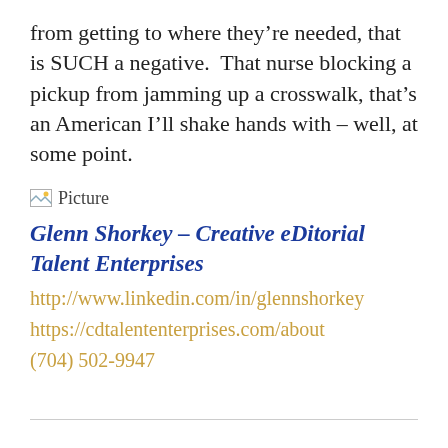from getting to where they’re needed, that is SUCH a negative.  That nurse blocking a pickup from jamming up a crosswalk, that’s an American I’ll shake hands with – well, at some point.
[Figure (illustration): Broken image placeholder labeled 'Picture']
Glenn Shorkey – Creative eDitorial Talent Enterprises
http://www.linkedin.com/in/glennshorkey
https://cdtalententerprises.com/about
(704) 502-9947